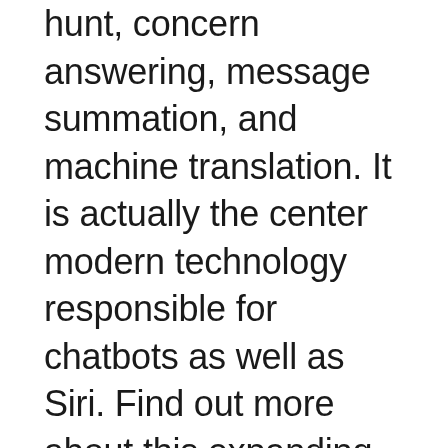hunt, concern answering, message summation, and machine translation. It is actually the center modern technology responsible for chatbots as well as Siri. Find out more about this expanding field of artificial intelligence. Our company'll talk about some of the advantages of NLP in this write-up. Keep reading to get more information about the future of NLP in your business world.In NLP, pc protocols examine natural language text to acquire significance.